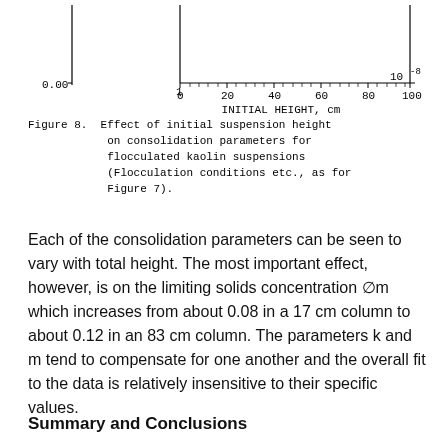[Figure (continuous-plot): Partial view of a chart bottom showing x-axis labeled 'INITIAL HEIGHT, cm' with tick marks at 0, 20, 40, 60, 80, 100, and y-axis partial labels 0.00 and 10^-8. The top portion of the chart is cropped.]
Figure 8. Effect of initial suspension height on consolidation parameters for flocculated kaolin suspensions (Flocculation conditions etc., as for Figure 7).
Each of the consolidation parameters can be seen to vary with total height. The most important effect, however, is on the limiting solids concentration Øm which increases from about 0.08 in a 17 cm column to about 0.12 in an 83 cm column. The parameters k and m tend to compensate for one another and the overall fit to the data is relatively insensitive to their specific values.
Summary and Conclusions